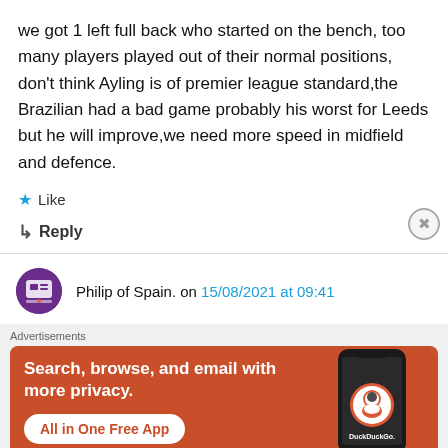we got 1 left full back who started on the bench, too many players played out of their normal positions, don't think Ayling is of premier league standard,the Brazilian had a bad game probably his worst for Leeds but he will improve,we need more speed in midfield and defence.
★ Like
↳ Reply
Philip of Spain. on 15/08/2021 at 09:41
[Figure (screenshot): DuckDuckGo advertisement banner: orange/red background, text 'Search, browse, and email with more privacy. All in One Free App' with a white button, and a phone showing DuckDuckGo logo on the right side. Small 'Advertisements' label above.]